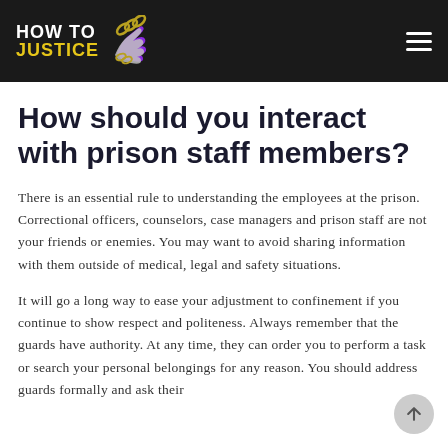[Figure (logo): How To Justice logo with white and yellow text and stylized hand with chains icon on black background]
How should you interact with prison staff members?
There is an essential rule to understanding the employees at the prison. Correctional officers, counselors, case managers and prison staff are not your friends or enemies. You may want to avoid sharing information with them outside of medical, legal and safety situations.
It will go a long way to ease your adjustment to confinement if you continue to show respect and politeness. Always remember that the guards have authority. At any time, they can order you to perform a task or search your personal belongings for any reason. You should address guards formally and ask their